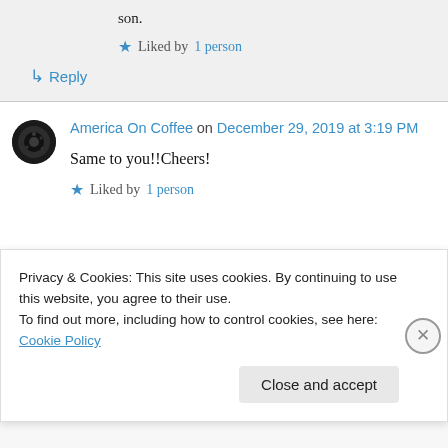son.
★ Liked by 1 person
↳ Reply
America On Coffee on December 29, 2019 at 3:19 PM
Same to you!!Cheers!
★ Liked by 1 person
Privacy & Cookies: This site uses cookies. By continuing to use this website, you agree to their use. To find out more, including how to control cookies, see here: Cookie Policy
Close and accept